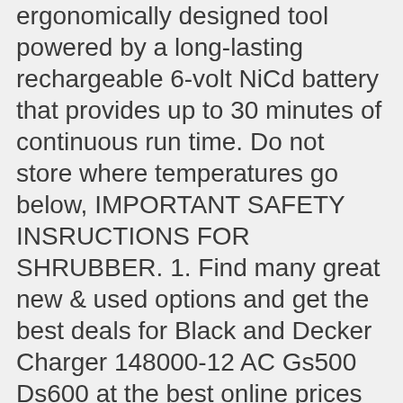ergonomically designed tool powered by a long-lasting rechargeable 6-volt NiCd battery that provides up to 30 minutes of continuous run time. Do not store where temperatures go below, IMPORTANT SAFETY INSRUCTIONS FOR SHRUBBER. 1. Find many great new & used options and get the best deals for Black and Decker Charger 148000-12 AC Gs500 Ds600 at the best online prices at eBay! WARNING: Some dust created by this product contains chemicals known to the State of California to, cause cancer, birth defects or other reproductive harm. BLACK+DECKER's electric lawn and garden equipment releases zero emissions in your yard, helping to reduce your carbon footprint. TO TURN TOOL "OFF", merely release the trigger. Black and Decker charger for Floor Sweeper Black & Decker